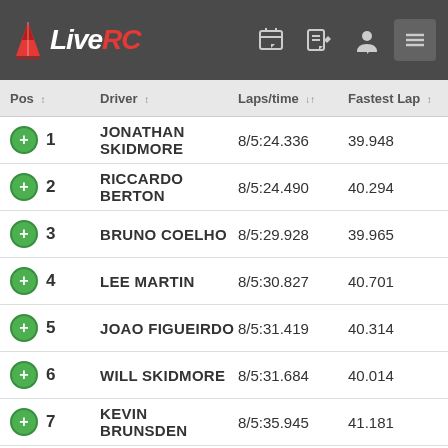LiveRC
| Pos | Driver | Laps/time | Fastest Lap |
| --- | --- | --- | --- |
| 1 | JONATHAN SKIDMORE | 8/5:24.336 | 39.948 |
| 2 | RICCARDO BERTON | 8/5:24.490 | 40.294 |
| 3 | BRUNO COELHO | 8/5:29.928 | 39.965 |
| 4 | LEE MARTIN | 8/5:30.827 | 40.701 |
| 5 | JOAO FIGUEIRDO | 8/5:31.419 | 40.314 |
| 6 | WILL SKIDMORE | 8/5:31.684 | 40.014 |
| 7 | KEVIN BRUNSDEN | 8/5:35.945 | 41.181 |
| 8 | LEWIS JONES | 8/5:42.316 | 41.531 |
| 9 | MARTIN BAYER | 8/5:43.874 | 40.923 |